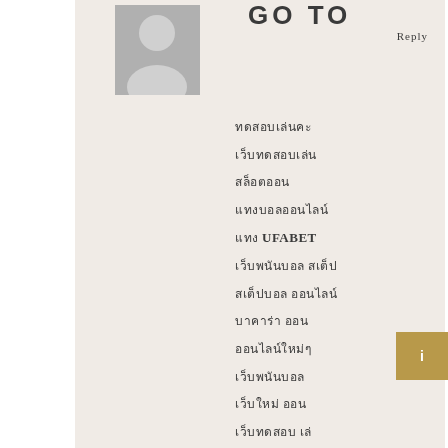[Figure (illustration): Generic user avatar silhouette in gray]
GO TO
Reply
Thai text content with UFABET reference and associated descriptive lines
[Figure (other): Gold colored tab with number 1]